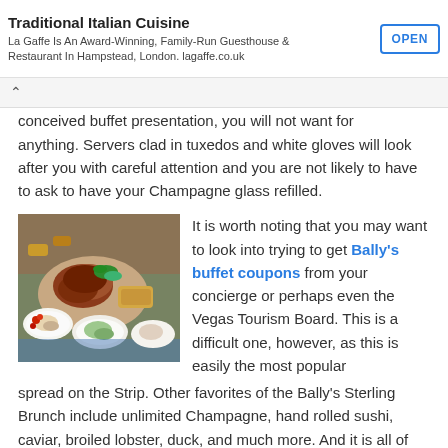Traditional Italian Cuisine — La Gaffe Is An Award-Winning, Family-Run Guesthouse & Restaurant In Hampstead, London. lagaffe.co.uk | OPEN
conceived buffet presentation, you will not want for anything. Servers clad in tuxedos and white gloves will look after you with careful attention and you are not likely to have to ask to have your Champagne glass refilled.
[Figure (photo): A colorful spread of food dishes on a buffet table, including meats, salads, and various dishes.]
It is worth noting that you may want to look into trying to get Bally's buffet coupons from your concierge or perhaps even the Vegas Tourism Board. This is a difficult one, however, as this is easily the most popular spread on the Strip. Other favorites of the Bally's Sterling Brunch include unlimited Champagne, hand rolled sushi, caviar, broiled lobster, duck, and much more. And it is all of the subtle touches that truly round out the experience at the Sterling Brunch. Attentive service and a comfortable yet elegant atmosphere are just two elements of the puzzle.